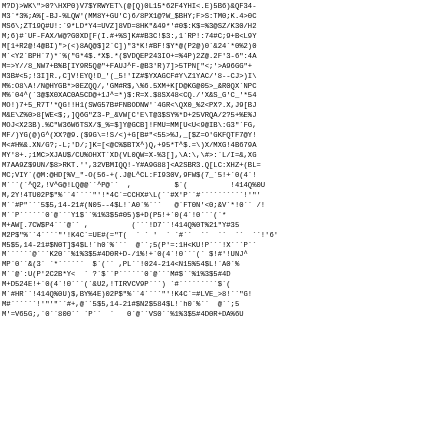M?D)>WK">0?\HXP0)V7$YRWYET\(@[Q)0L15*62F4YHI<.E)5B6)&QF34-
M3`*3%;A%[-BJ-%LQW'(MM8Y+GU'C)6/8PX1@?W_$BHY;F>S:TM0;K.4>0C
MS6\;ZT19Q#U!:`9*LD*Y4=UVZ]8VD=8HK"&49*'#0$:K$=%3@SZ/K30/H2
M;6)#`UF-FAX/W@?G0XD[F(I.#+%S]K##B3C!$3:,1`RP!:74#C;9+B<L9Y
M[1+R2@!4@BI)">(<)8AQ@$]2`C])"3*K!#BF!$Y*@(P2@)0`&24`*0%2)0
M`<Y2`BPH`7)*`%("G*4$.*X$.*($VDQEP243IO+=%4P)2Z@.2F'3-6":4A
M=>Y//8_NW7+B%B[IY9R5Q@"+FAUJ^F-@B3'R)7]>5TPN["<;'>A96GG"+
M3B#<5;!3I]R.,C]V!EYQ!D_'(_5!'IZ#$YXAGCF#Y\Z1YAC/'8--CJ>)I\
M%:O8\A!/N@HYGB*>0EZQQ/,'GM#R$,\%6.5XM+K[D@KG@05>_&R0QX`NPC
M%`04^(`3@$X0XAC0A5CD@+1J^=*)$:R=X.$8SX48<CQ./'X&S_G'C_'*54
MO!)7+5_R7T'*QG!!H1(SWG57B#FNBODNW'`4GR<\QX0_%2<PX?.X,J9[BJ
M&E\Z%0>8[WE<$;,]Q6G"Z3-P_&VW[C'E\T@3$SY%*D+25VRQA/2?5+%E%J
MOJ<X23B).%C"W36W6TSX/$_%=$]Y@GCB]!FMU=MM[U<U<9@IB\:G3"`FG,
MF/)YG(@)G^(XX?@9.($9G\=!S/<)+G[B#"<55>%J,_[$Z=O'GKFQTF7@Y!
M<#H%&.XN/G?;-L;'D/;]K=[<@C%$BTX^)Q,+95*T^$.=\)X/MXG!4B679A
MY'8+.;1MC>XJAU$/CU%OHXT`XD(VL0QW=X-%3[],\A:\,\#>:`L/I=&,XG
M7AA9Z$9UN/$8>RKT.'',32VBMIQQ!-Y#A9G88]<A2SBR3.Q[LC:XHZ+(BL=
MC;VIY`(@M:@HD[%V_"-O(56-+(.J@L^CL:FI930V,9FW$(7_`5!+`0(4`!
M```(`^Q2,!V^G@!LQ@@``^P@``  ,          $`(          !414Q%0U
M,2Y!4TU02P$"%``4````"'!*4C`=CCHX#\L(``#X'P``#``````````!'"'
M``#P"```5$5,14-21#(N05--4$L!`A0`%```   @`FT0N'<0;&V`*!0`` /!
M``P``````0`@```Y1$``%1%3$5#05)$+D(P5!+`0(4`!0` ` ` (`*
M+AW[.7CW$P4```@`` ,          (```!D7``!414Q%0T%21"Y#35
M2P$"%``4````"'!K4C`=UE#(="T(  ` ` '  ` `#``  ``  ``  ``  ``!'6'
M5$5,14-21#$N0T]$4$L!`A0`%```  @``;5(P'=:1H<KU!P```!X```P``
M``````@```K20``%1%3$5#4D0R+D-/1%!+`0(4`!0` ` ` (` $!#'!UNJ^
MP`0``&(3` `*``````  $`(`` ,PL``!024-214<N15%54$L!`A0`%
M``@`:U(P'2C2B*Y<  ` ?`$``P``````0`@```M#$``%1%3$5#4D
M+D524E!+`0(4`!0` ` ` (`&U2,!TIRVCV9P```) `#`` ` ` ` ` ` ` `$`(
M`#HR``!414Q%0U)$,BY%4E)02P$"%``4````"'!K4C`=#LVE_>8!``"G!
M#``````!'"'"``#+,@``5$5,14-21#$N2$584$L!`A0`%``  @``;5
M'=V65G;,`0``800`` `P``  `   0`@``VS0``%1%3$5#4D0R+DA%6U